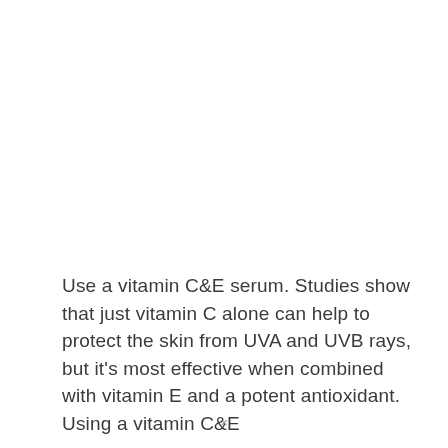Use a vitamin C&E serum. Studies show that just vitamin C alone can help to protect the skin from UVA and UVB rays, but it's most effective when combined with vitamin E and a potent antioxidant. Using a vitamin C&E
×